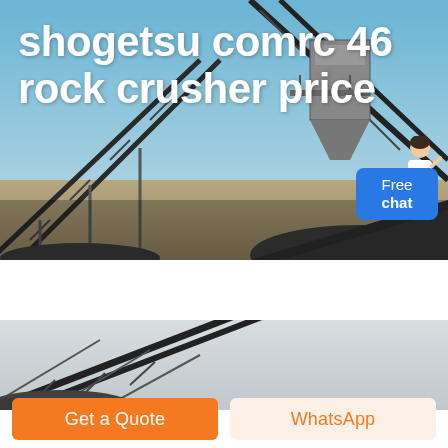[Figure (photo): Industrial rock crushing conveyor and equipment facility under blue sky with gravel pile]
shogetsu comrc 46 rock crusher price
[Figure (photo): Close-up of industrial conveyor belt structure against overcast sky with gravel at base]
Get a Quote
WhatsApp